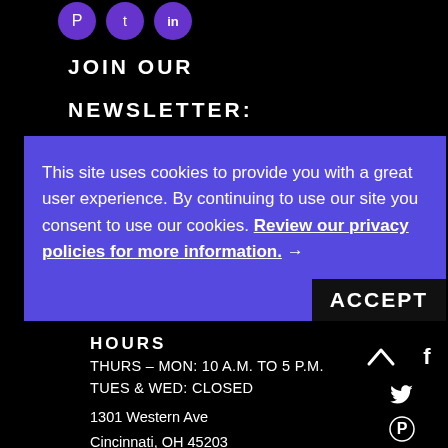[Figure (illustration): Three circular social media icons (Pinterest, Twitter/phone, LinkedIn) with purple backgrounds at top of page]
JOIN OUR
NEWSLETTER:
This site uses cookies to provide you with a great user experience. By continuing to use our site you consent to use our cookies. Review our privacy policies for more information. →
ACCEPT
HOURS
THURS – MON: 10 A.M. TO 5 P.M.
TUES & WED: CLOSED
1301 Western Ave
Cincinnati, OH 45203
[Figure (illustration): Bottom-right corner icons: upward chevron arrow, Facebook icon, Twitter bird icon, Pinterest icon]